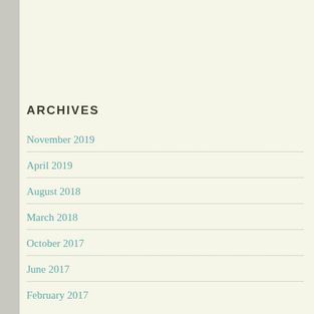ARCHIVES
November 2019
April 2019
August 2018
March 2018
October 2017
June 2017
February 2017